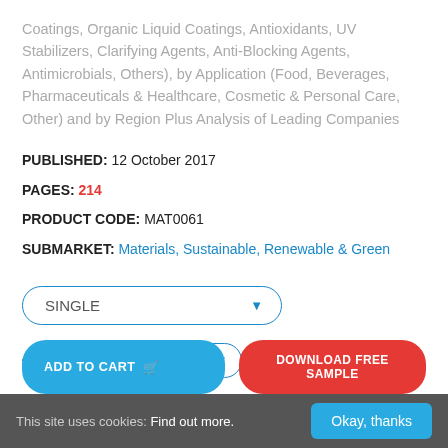Coatings, Organic Liquid Coatings, Antioxidants, UV Stabilizers, Clarifying Agents, Anti-Blocking Agents, Antimicrobials, Others), by Application (Food, Beverages, Pharmaceuticals & Healthcare, Cosmetic & Personal Care, Other) and by Region Plus Analysis of Leading Companies
PUBLISHED: 12 October 2017
PAGES: 214
PRODUCT CODE: MAT0061
SUBMARKET: Materials, Sustainable, Renewable & Green
SINGLE
£3,499.00  GBP
ADD TO CART   DOWNLOAD FREE SAMPLE
This site uses cookies: Find out more.   Okay, thanks